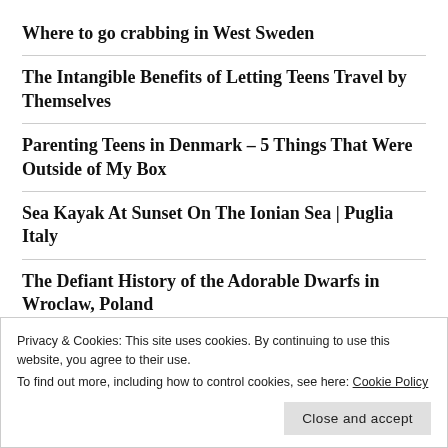Where to go crabbing in West Sweden
The Intangible Benefits of Letting Teens Travel by Themselves
Parenting Teens in Denmark – 5 Things That Were Outside of My Box
Sea Kayak At Sunset On The Ionian Sea | Puglia Italy
The Defiant History of the Adorable Dwarfs in Wroclaw, Poland
Privacy & Cookies: This site uses cookies. By continuing to use this website, you agree to their use.
To find out more, including how to control cookies, see here: Cookie Policy